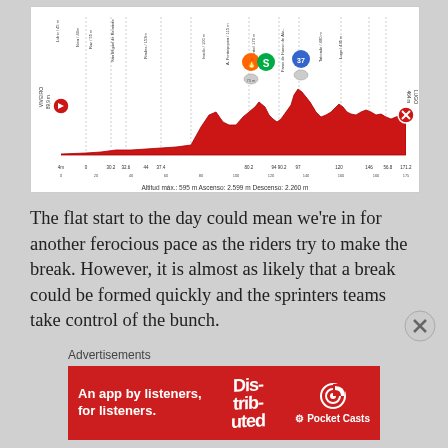[Figure (continuous-plot): Cycling stage profile chart showing elevation from VIVEIRO to LUGO. Shows a mostly flat route with some hills in the middle section. Altitude max: 595m, Ascenso: 2,599m, Descenso: 2,260m. Various climb markers and intermediate sprint/KOM markers shown along the route.]
The flat start to the day could mean we're in for another ferocious pace as the riders try to make the break. However, it is almost as likely that a break could be formed quickly and the sprinters teams take control of the bunch.
Advertisements
[Figure (infographic): Advertisement banner for Pocket Casts app. Red background with white text: 'An app by listeners, for listeners.' Shows stylized text 'Distributed' and Pocket Casts logo and name.]